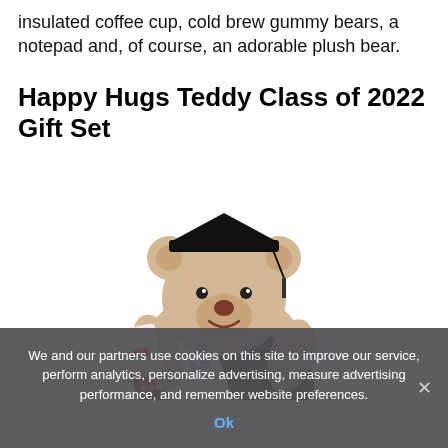insulated coffee cup, cold brew gummy bears, a notepad and, of course, an adorable plush bear.
Happy Hugs Teddy Class of 2022 Gift Set
[Figure (photo): A plush teddy bear wearing a black graduation cap and gown, holding a diploma tied with a red ribbon, and wearing a 'CLASS' sash. The bear has light brown fur and a smiling face.]
We and our partners use cookies on this site to improve our service, perform analytics, personalize advertising, measure advertising performance, and remember website preferences.